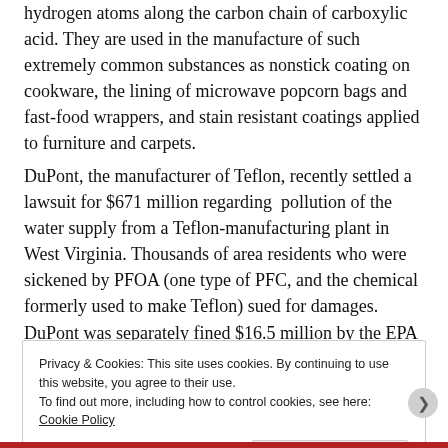hydrogen atoms along the carbon chain of carboxylic acid. They are used in the manufacture of such extremely common substances as nonstick coating on cookware, the lining of microwave popcorn bags and fast-food wrappers, and stain resistant coatings applied to furniture and carpets.
DuPont, the manufacturer of Teflon, recently settled a lawsuit for $671 million regarding pollution of the water supply from a Teflon-manufacturing plant in West Virginia. Thousands of area residents who were sickened by PFOA (one type of PFC, and the chemical formerly used to make Teflon) sued for damages. DuPont was separately fined $16.5 million by the EPA for its knowing release of PFOA at the same site.
Privacy & Cookies: This site uses cookies. By continuing to use this website, you agree to their use.
To find out more, including how to control cookies, see here: Cookie Policy
Close and accept